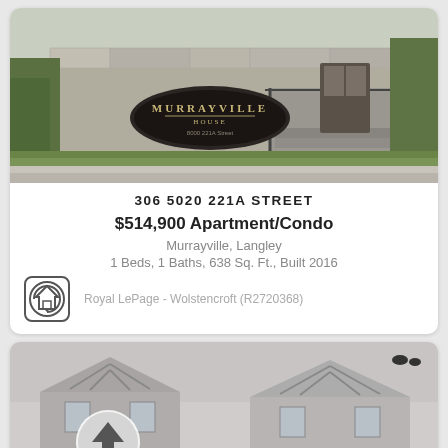[Figure (photo): Exterior photo of Murrayville House building with stone sign and entrance steps surrounded by greenery]
306 5020 221A STREET
$514,900 Apartment/Condo
Murrayville, Langley
1 Beds, 1 Baths, 638 Sq. Ft., Built 2016
[Figure (logo): Royal LePage circular home logo]
Royal LePage - Wolstencroft (R2720368)
[Figure (photo): Black and white exterior photo of townhouses with Tudor-style gabled roofs and an upload arrow icon overlay]